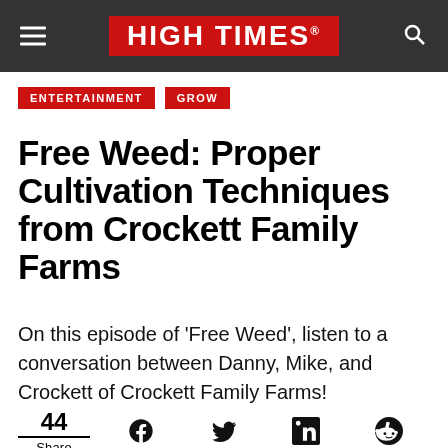HIGH TIMES
ENTERTAINMENT
GROW
Free Weed: Proper Cultivation Techniques from Crockett Family Farms
On this episode of ‘Free Weed’, listen to a conversation between Danny, Mike, and Crockett of Crockett Family Farms!
44 Share